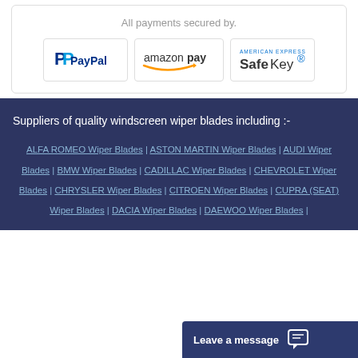All payments secured by.
[Figure (logo): PayPal logo]
[Figure (logo): Amazon Pay logo]
[Figure (logo): American Express SafeKey logo]
Suppliers of quality windscreen wiper blades including :-
ALFA ROMEO Wiper Blades | ASTON MARTIN Wiper Blades | AUDI Wiper Blades | BMW Wiper Blades | CADILLAC Wiper Blades | CHEVROLET Wiper Blades | CHRYSLER Wiper Blades | CITROEN Wiper Blades | CUPRA (SEAT) Wiper Blades | DACIA Wiper Blades | DAEWOO Wiper Blades |
Leave a message